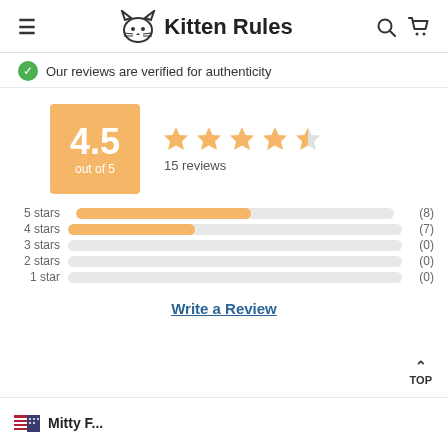Kitten Rules
Our reviews are verified for authenticity
[Figure (infographic): Rating box showing 4.5 out of 5 with 4.5 stars and 15 reviews]
[Figure (bar-chart): Star rating breakdown]
Write a Review
TOP